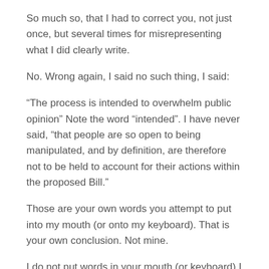So much so, that I had to correct you, not just once, but several times for misrepresenting what I did clearly write.
No. Wrong again, I said no such thing, I said:
“The process is intended to overwhelm public opinion” Note the word “intended”. I have never said, “that people are so open to being manipulated, and by definition, are therefore not to be held to account for their actions within the proposed Bill.”
Those are your own words you attempt to put into my mouth (or onto my keyboard). That is your own conclusion. Not mine.
I do not put words in your mouth (or keyboard) I suggest you cease in your attempts to put your words in mine (yeeuuuchh!) (or on my keyboard).